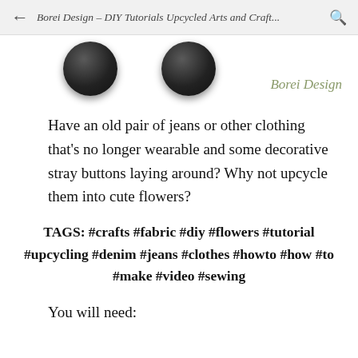Borei Design – DIY Tutorials Upcycled Arts and Craft...
[Figure (photo): Two dark round buttons partially visible at top, with 'Borei Design' cursive logo text to the right]
Have an old pair of jeans or other clothing that's no longer wearable and some decorative stray buttons laying around? Why not upcycle them into cute flowers?
TAGS: #crafts #fabric #diy #flowers #tutorial #upcycling #denim #jeans #clothes #howto #how #to #make #video #sewing
You will need: